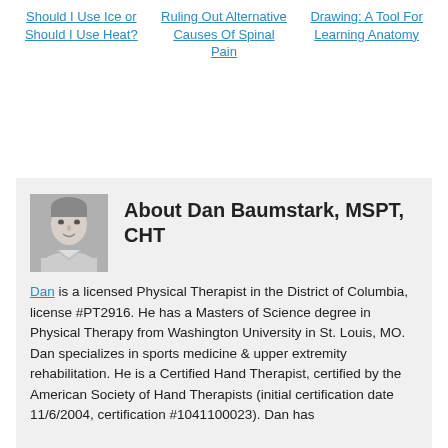Should I Use Ice or Should I Use Heat?
Ruling Out Alternative Causes Of Spinal Pain
Drawing: A Tool For Learning Anatomy
About Dan Baumstark, MSPT, CHT
[Figure (photo): Black and white headshot photo of Dan Baumstark]
Dan is a licensed Physical Therapist in the District of Columbia, license #PT2916. He has a Masters of Science degree in Physical Therapy from Washington University in St. Louis, MO. Dan specializes in sports medicine & upper extremity rehabilitation. He is a Certified Hand Therapist, certified by the American Society of Hand Therapists (initial certification date 11/6/2004, certification #1041100023). Dan has